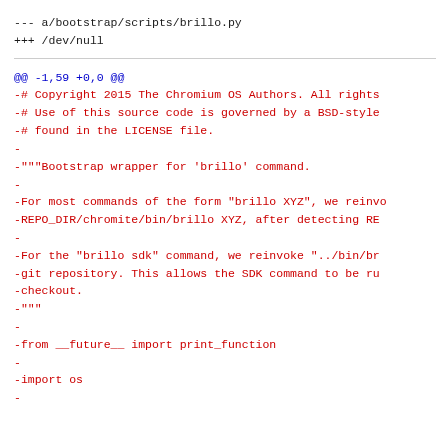--- a/bootstrap/scripts/brillo.py
+++ /dev/null
@@ -1,59 +0,0 @@
-# Copyright 2015 The Chromium OS Authors. All rights
-# Use of this source code is governed by a BSD-style
-# found in the LICENSE file.
-
-"""Bootstrap wrapper for 'brillo' command.
-
-For most commands of the form "brillo XYZ", we reinvo
-REPO_DIR/chromite/bin/brillo XYZ, after detecting RE
-
-For the "brillo sdk" command, we reinvoke "../bin/br
-git repository. This allows the SDK command to be ru
-checkout.
-"""
-
-from __future__ import print_function
-
-import os
-